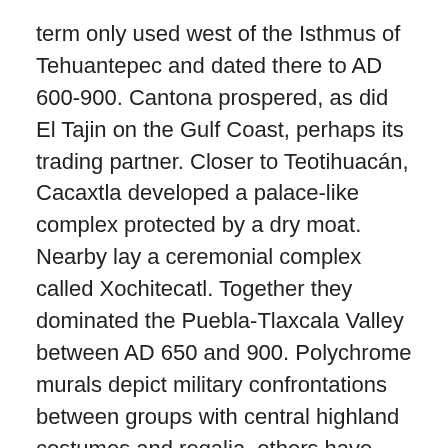term only used west of the Isthmus of Tehuantepec and dated there to AD 600-900. Cantona prospered, as did El Tajin on the Gulf Coast, perhaps its trading partner. Closer to Teotihuacán, Cacaxtla developed a palace-like complex protected by a dry moat. Nearby lay a ceremonial complex called Xochitecatl. Together they dominated the Puebla-Tlaxcala Valley between AD 650 and 900. Polychrome murals depict military confrontations between groups with central highland costumes and regalia, others have Maya characteristics. Cholula was probably defeated by Cacaxtla, but still survived as an urban center.
Xochicalco, contemporary with Cacaxtla, had large architectural complexes built on five hills, with earthworks, ramparts, and terraces for defense. Despite poor agricultural conditions, 10,000 to 15,000 people lived on the hillsides, producing crafts and trading. Carvings on the Pyramid of the Plumed Serpent show warriors and toponyms of towns paying